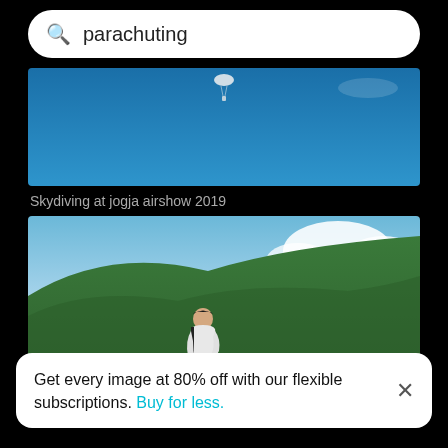parachuting
[Figure (photo): Skydiving photo showing a parachute in blue sky, banner image]
Skydiving at jogja airshow 2019
[Figure (photo): Young man in white jacket sitting on a rocky mountain cliff with green forested hills and cloudy sky behind him]
Get every image at 80% off with our flexible subscriptions. Buy for less.